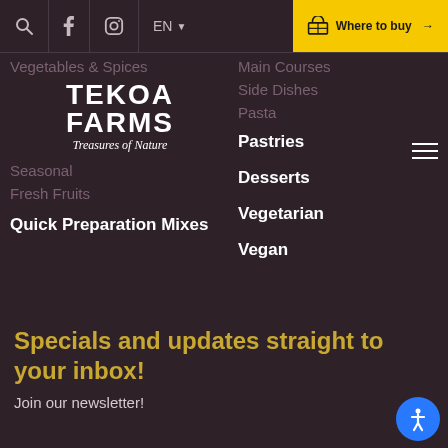Tekoa Farms – Navigation header with icons: search, facebook, instagram, EN language selector, Where to buy button
[Figure (logo): Tekoa Farms logo — white bold arched text 'TEKOA FARMS' with italic script 'Treasures of Nature' beneath]
Vegetables & Spices
Seasonal
Fresh Fruits
Quick Preparation Mixes
Main Courses
Side Dishes
Pasta
Pastries
Desserts
Vegetarian
Vegan
Specials and updates straight to your inbox!
Join our newsletter!